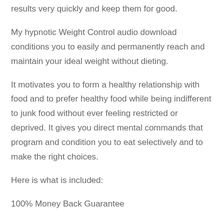results very quickly and keep them for good.
My hypnotic Weight Control audio download conditions you to easily and permanently reach and maintain your ideal weight without dieting.
It motivates you to form a healthy relationship with food and to prefer healthy food while being indifferent to junk food without ever feeling restricted or deprived. It gives you direct mental commands that program and condition you to eat selectively and to make the right choices.
Here is what is included:
100% Money Back Guarantee
Here is what is included:
The risks of medical gastric banding